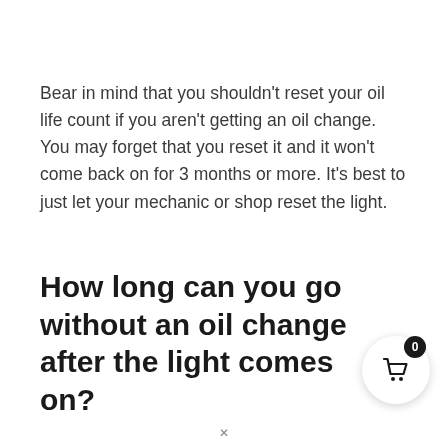Bear in mind that you shouldn't reset your oil life count if you aren't getting an oil change. You may forget that you reset it and it won't come back on for 3 months or more. It's best to just let your mechanic or shop reset the light.
How long can you go without an oil change after the light comes on?